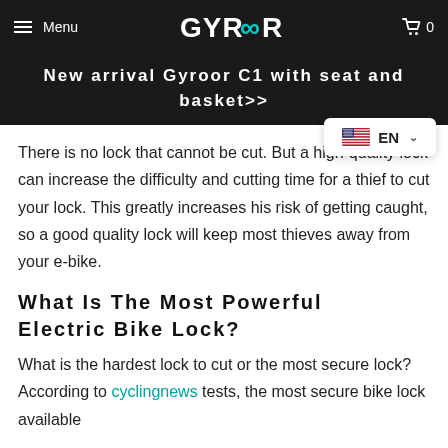Menu | GYROOR | 0
New arrival Gyroor C1 with seat and basket>>
There is no lock that cannot be cut. But a high-quality lock can increase the difficulty and cutting time for a thief to cut your lock. This greatly increases his risk of getting caught, so a good quality lock will keep most thieves away from your e-bike.
What Is The Most Powerful Electric Bike Lock?
What is the hardest lock to cut or the most secure lock? According to cyclingnews tests, the most secure bike lock available